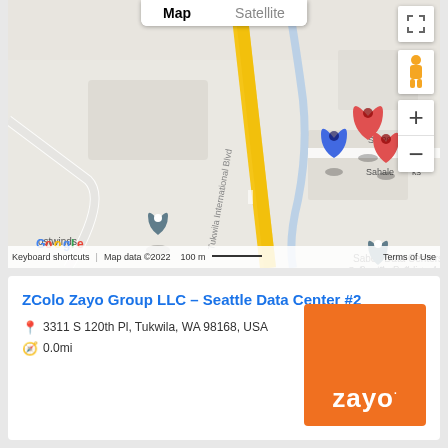[Figure (map): Google Maps view showing Tukwila International Blvd area near Seattle. Map shows Sabey Data Centers - Seattle Building 4, Sabey Corporation, and location markers including a blue pin and two red pins near S 120th Pl / Sahale area. Map controls visible: Map/Satellite toggle, fullscreen button, Street View pegman, zoom in/out buttons. Footer shows: Keyboard shortcuts, Map data ©2022, 100 m scale bar, Terms of Use.]
ZColo Zayo Group LLC – Seattle Data Center #2
3311 S 120th Pl, Tukwila, WA 98168, USA
0.0mi
[Figure (logo): Zayo company logo - orange square background with white bold text 'zayo' with a superscript dot]